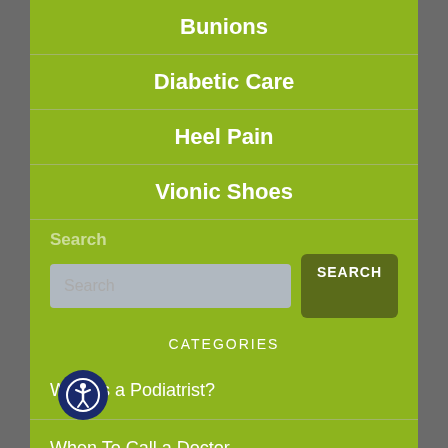Bunions
Diabetic Care
Heel Pain
Vionic Shoes
Search
CATEGORIES
What is a Podiatrist?
When To Call a Doctor
Foot Anatomy
Overview of Foot and Ankle Problems